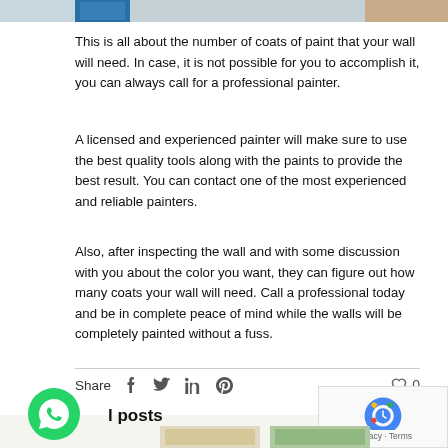[Figure (photo): Top strip of a photo showing a person painting, partially cropped at top of page]
This is all about the number of coats of paint that your wall will need. In case, it is not possible for you to accomplish it, you can always call for a professional painter.
A licensed and experienced painter will make sure to use the best quality tools along with the paints to provide the best result. You can contact one of the most experienced and reliable painters.
Also, after inspecting the wall and with some discussion with you about the color you want, they can figure out how many coats your wall will need. Call a professional today and be in complete peace of mind while the walls will be completely painted without a fuss.
Share  0
l posts
[Figure (screenshot): reCAPTCHA widget with Privacy and Terms links]
[Figure (photo): WhatsApp contact button (green circle with phone icon)]
[Figure (photo): Bottom strip showing partial thumbnail images]